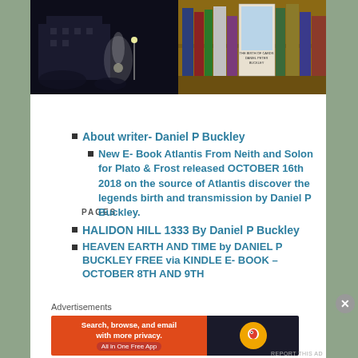[Figure (photo): Two side-by-side photos: left shows a dark nighttime fountain scene with figures, right shows books on a shelf including a book by Daniel P Buckley]
PAGES
About writer- Daniel P Buckley
New E- Book Atlantis From Neith and Solon for Plato & Frost released OCTOBER 16th 2018 on the source of Atlantis discover the legends birth and transmission by Daniel P Buckley.
HALIDON HILL 1333 By Daniel P Buckley
HEAVEN EARTH AND TIME by DANIEL P BUCKLEY FREE via KINDLE E- BOOK – OCTOBER 8TH AND 9TH
Advertisements
[Figure (infographic): DuckDuckGo advertisement banner: orange left side with text 'Search, browse, and email with more privacy. All in One Free App', dark right side with DuckDuckGo logo]